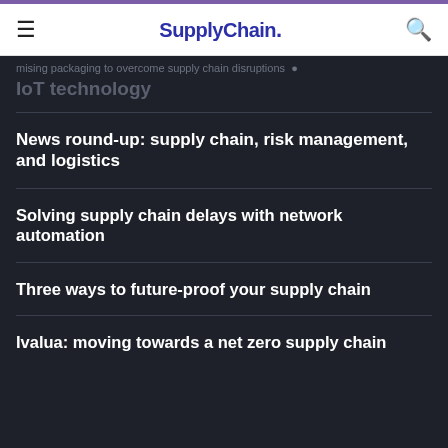SupplyChain.
mising packaging to overcome supply chain disruptions
IoT technology
News round-up: supply chain, risk management, and logistics
Solving supply chain delays with network automation
Three ways to future-proof your supply chain
Ivalua: moving towards a net zero supply chain